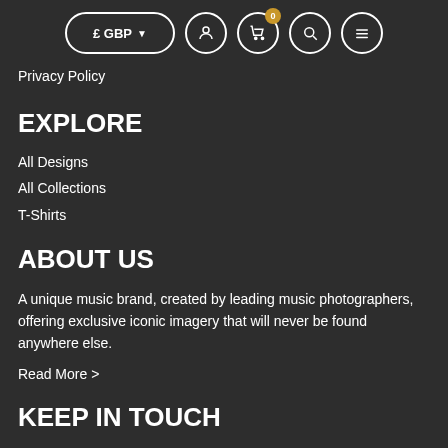£ GBP [currency selector], user icon, cart icon (0), search icon, menu icon
Privacy Policy
EXPLORE
All Designs
All Collections
T-Shirts
ABOUT US
A unique music brand, created by leading music photographers, offering exclusive iconic imagery that will never be found anywhere else.
Read More >
KEEP IN TOUCH